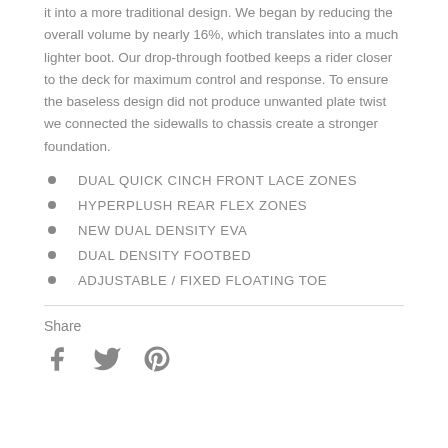it into a more traditional design. We began by reducing the overall volume by nearly 16%, which translates into a much lighter boot. Our drop-through footbed keeps a rider closer to the deck for maximum control and response. To ensure the baseless design did not produce unwanted plate twist we connected the sidewalls to chassis create a stronger foundation.
DUAL QUICK CINCH FRONT LACE ZONES
HYPERPLUSH REAR FLEX ZONES
NEW DUAL DENSITY EVA
DUAL DENSITY FOOTBED
ADJUSTABLE / FIXED FLOATING TOE
Share